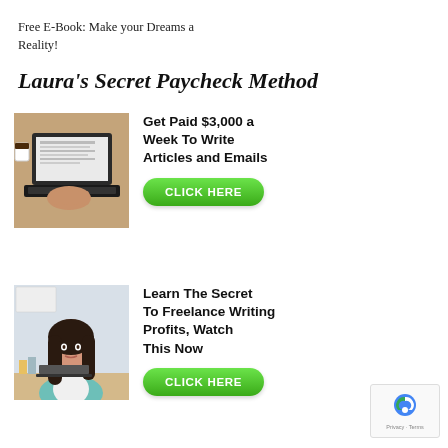Free E-Book: Make your Dreams a Reality!
Laura's Secret Paycheck Method
[Figure (photo): Person typing on a laptop keyboard, hands visible, coffee cup in background]
Get Paid $3,000 a Week To Write Articles and Emails
CLICK HERE
[Figure (photo): Young woman with dark hair sitting at a desk working, wearing a teal top]
Learn The Secret To Freelance Writing Profits, Watch This Now
CLICK HERE